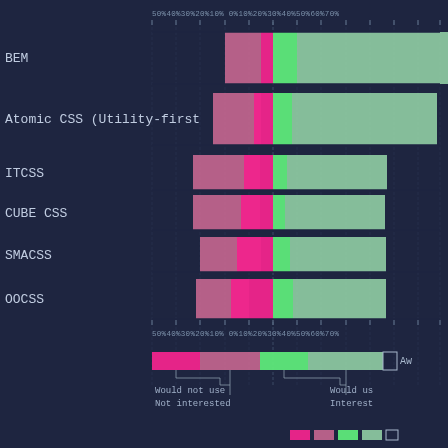[Figure (stacked-bar-chart): CSS Methodology Usage Survey]
Legend: Would not use | Not interested | Would use again | Interested | Awareness